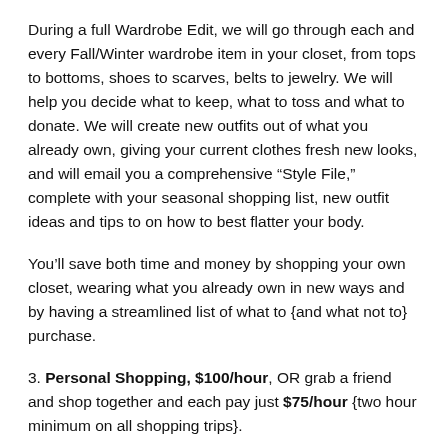During a full Wardrobe Edit, we will go through each and every Fall/Winter wardrobe item in your closet, from tops to bottoms, shoes to scarves, belts to jewelry. We will help you decide what to keep, what to toss and what to donate. We will create new outfits out of what you already own, giving your current clothes fresh new looks, and will email you a comprehensive “Style File,” complete with your seasonal shopping list, new outfit ideas and tips to on how to best flatter your body.
You’ll save both time and money by shopping your own closet, wearing what you already own in new ways and by having a streamlined list of what to {and what not to} purchase.
3. Personal Shopping, $100/hour, OR grab a friend and shop together and each pay just $75/hour {two hour minimum on all shopping trips}.